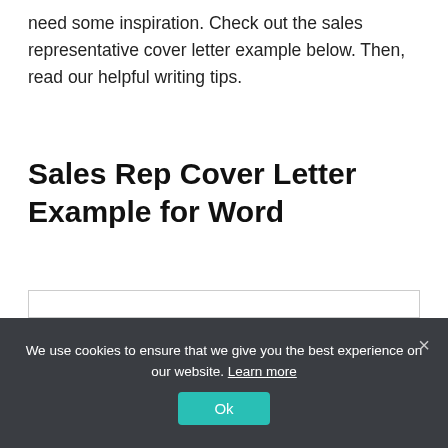need some inspiration. Check out the sales representative cover letter example below. Then, read our helpful writing tips.
Sales Rep Cover Letter Example for Word
[Figure (screenshot): A document preview showing a cover letter template with 'Brian Ninja' as the name in bold, a yellow highlight bar beneath it, contact placeholder fields (Your phone number, Your email, Your address), Date: MM/DD/YYYY, Contact's Full Name, Job Title, Company's Name, Address.]
We use cookies to ensure that we give you the best experience on our website. Learn more